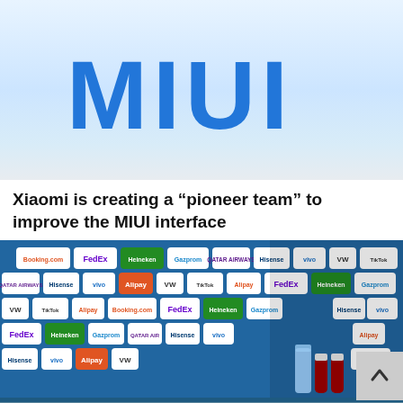[Figure (screenshot): MIUI logo/text on a light blue gradient background]
Xiaomi is creating a “pioneer team” to improve the MIUI interface
[Figure (screenshot): Press conference image showing a person at a table with Coca-Cola bottles, UEFA Euro 2020 branding with sponsor logos (FedEx, Qatar Airways, Hisense, vivo, Volkswagen, TikTok, Booking.com, Gazprom, Heineken, Alipay), with BUDAPEST and UEFA EURO 2020 bar at bottom]
BUDAPEST  UEFA EURO 2020